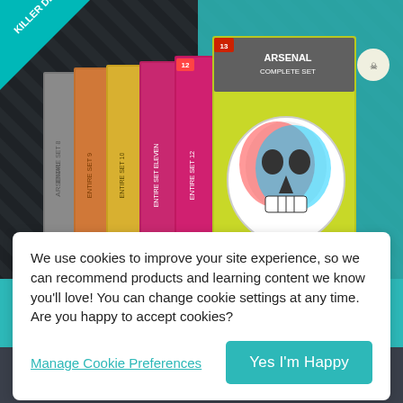[Figure (photo): Product photo showing Arsenal Complete Set boxes (sets 7-13) arranged in a row on a dark diagonal striped background with teal color accent. A 'KILLER DEAL!' ribbon badge appears in the top-left corner.]
We use cookies to improve your site experience, so we can recommend products and learning content we know you'll love! You can change cookie settings at any time. Are you happy to accept cookies?
Manage Cookie Preferences
Yes I'm Happy
Extended Licence Included: for personal &